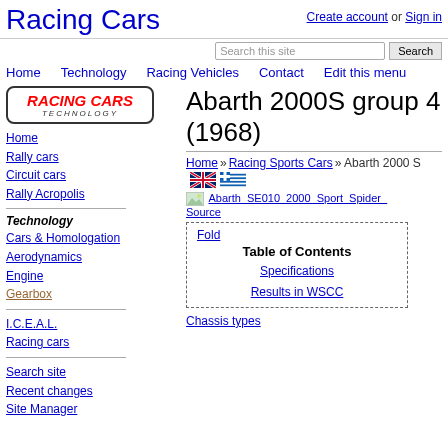Racing Cars
Create account or Sign in
Search this site  Search
Home  Technology  Racing Vehicles  Contact  Edit this menu
[Figure (logo): Racing Cars Technology logo in red italic text with border]
Home
Rally cars
Circuit cars
Rally Acropolis
Technology
Cars & Homologation
Aerodynamics
Engine
Gearbox
I.C.E.A.L.
Racing cars
Search site
Recent changes
Site Manager
Abarth 2000S group 4 (1968)
Home » Racing Sports Cars » Abarth 2000 S
[Figure (photo): Broken image placeholder for Abarth_SE010_2000_Sport_Spider_ with Source link]
Fold  Table of Contents  Specifications  Results in WSCC
Chassis types